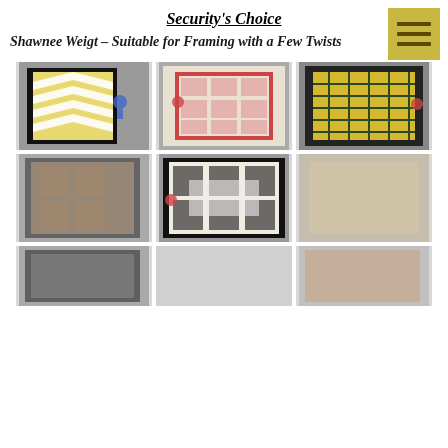Security's Choice
Shawnee Weigt – Suitable for Framing with a Few Twists
[Figure (photo): Gallery of six quilt photos displayed in a 3-column grid, with two partial photos at the bottom row. Quilts include yellow chevron, red animal print, yellow grid pattern, brown patterned, black and white medallion, and tan blurred quilts.]